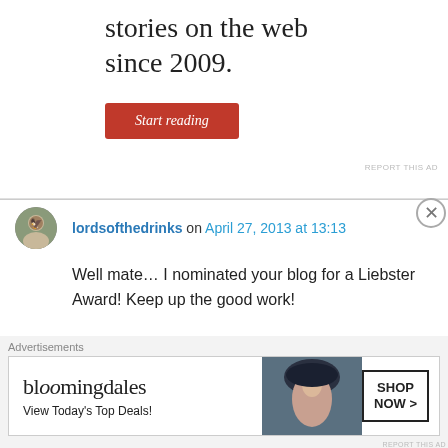[Figure (other): Top advertisement banner with tagline 'stories on the web since 2009.' and a red 'Start reading' button]
REPORT THIS AD
lordsofthedrinks on April 27, 2013 at 13:13
Well mate… I nominated your blog for a Liebster Award! Keep up the good work!
http://lordsofthedrinks.wordpress.com/2013/04/27/our-nominees-for-a-liebster-award/
Like
Advertisements
[Figure (other): Bloomingdale's advertisement banner with logo, 'View Today's Top Deals!' text, model photo, and 'SHOP NOW >' button]